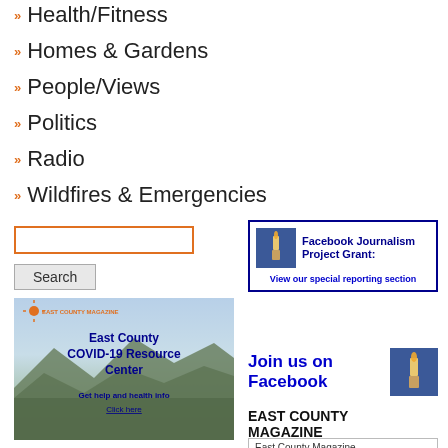Health/Fitness
Homes & Gardens
People/Views
Politics
Radio
Wildfires & Emergencies
[Figure (screenshot): Search input box with orange border]
[Figure (screenshot): Search button]
[Figure (screenshot): East County COVID-19 Resource Center banner with landscape background, East County Magazine logo, and text: East County COVID-19 Resource Center, Get help and health info, Click here]
[Figure (screenshot): Facebook Journalism Project Grant banner with blue border: View our special reporting section]
[Figure (screenshot): Join us on Facebook section with Facebook logo image]
EAST COUNTY MAGAZINE
East County Magazine